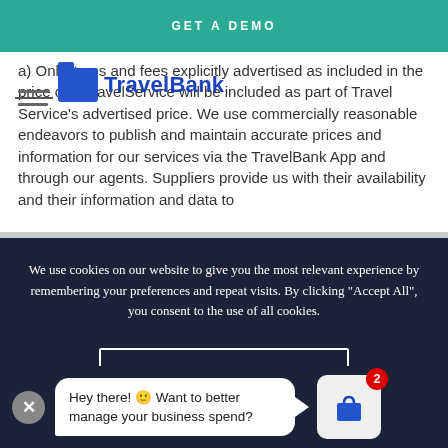GET A DEMO
a) Only items and fees explicitly advertised as included in the price of a Travel Service will be included as part of Travel Service's advertised price. We use commercially reasonable endeavors to publish and maintain accurate prices and information for our services via the TravelBank App and through our agents. Suppliers provide us with their price, availability, and their information and data to
[Figure (logo): TravelBank logo with blue folder icon and bold blue TravelBank text]
We use cookies on our website to give you the most relevant experience by remembering your preferences and repeat visits. By clicking "Accept All", you consent to the use of all cookies.
ACCEPT ALL
Hey there! 🙂 Want to better manage your business spend?
[Figure (illustration): Shopping bag icon with red badge showing number 2]